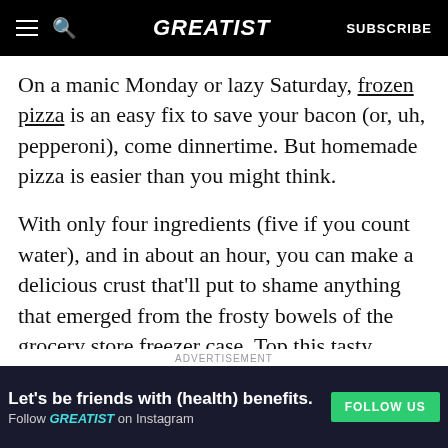GREATIST | SUBSCRIBE
On a manic Monday or lazy Saturday, frozen pizza is an easy fix to save your bacon (or, uh, pepperoni), come dinnertime. But homemade pizza is easier than you might think.
With only four ingredients (five if you count water), and in about an hour, you can make a delicious crust that'll put to shame anything that emerged from the frosty bowels of the grocery store freezer case. Top this tasty recipe however you want for movie night, a casual dinner party, or
any other time when you need to satisfy a pizz—
ADVERTISEMENT
[Figure (infographic): Dark advertisement banner: 'Let's be friends with (health) benefits. Follow GREATIST on Instagram' with green FOLLOW US button]